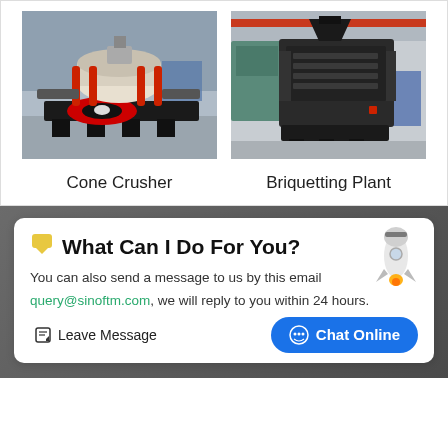[Figure (photo): Industrial cone crusher machine in a factory setting, with red hydraulic cylinders and a black circular base.]
Cone Crusher
[Figure (photo): Industrial briquetting plant machine, large dark grey/black machine in a factory floor with overhead crane visible.]
Briquetting Plant
What Can I Do For You?
You can also send a message to us by this email query@sinoftm.com, we will reply to you within 24 hours.
Leave Message
Chat Online